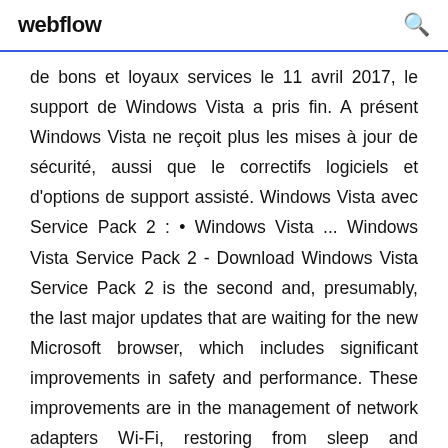webflow
de bons et loyaux services le 11 avril 2017, le support de Windows Vista a pris fin. A présent Windows Vista ne reçoit plus les mises à jour de sécurité, aussi que le correctifs logiciels et d'options de support assisté. Windows Vista avec Service Pack 2 : • Windows Vista ... Windows Vista Service Pack 2 - Download Windows Vista Service Pack 2 is the second and, presumably, the last major updates that are waiting for the new Microsoft browser, which includes significant improvements in safety and performance. These improvements are in the management of network adapters Wi-Fi, restoring from sleep and hibernation states